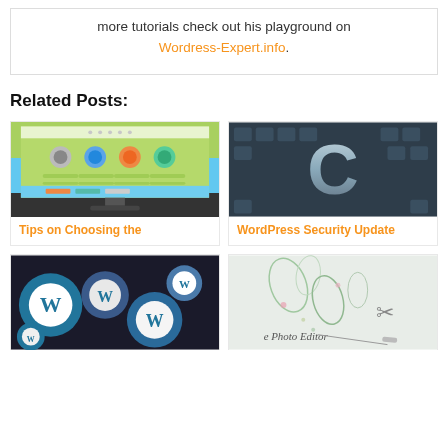more tutorials check out his playground on Wordress-Expert.info.
Related Posts:
[Figure (screenshot): Screenshot of a website on a monitor with icons and green elements]
Tips on Choosing the
[Figure (photo): Close-up of a metal letter C on a keyboard]
WordPress Security Update
[Figure (photo): WordPress logo badges/pins scattered]
[Figure (photo): Photo editing software screenshot with floral design]